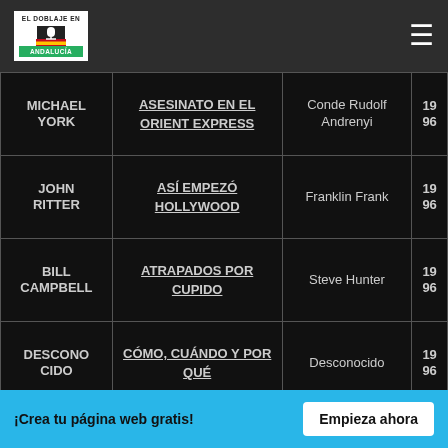El Doblaje en Andalucía
| Actor | Película | Personaje | Año |
| --- | --- | --- | --- |
| MICHAEL YORK | ASESINATO EN EL ORIENT EXPRESS | Conde Rudolf Andrenyi | 1996 |
| JOHN RITTER | ASÍ EMPEZÓ HOLLYWOOD | Franklin Frank | 1996 |
| BILL CAMPBELL | ATRAPADOS POR CUPIDO | Steve Hunter | 1996 |
| DESCONOCIDO | CÓMO, CUÁNDO Y POR QUÉ | Desconocido | 1996 |
| JAMIE GLOVER | EL ARRECIFE | Owen Leath | 1996 |
¡Crea tu página web gratis! Empieza ahora